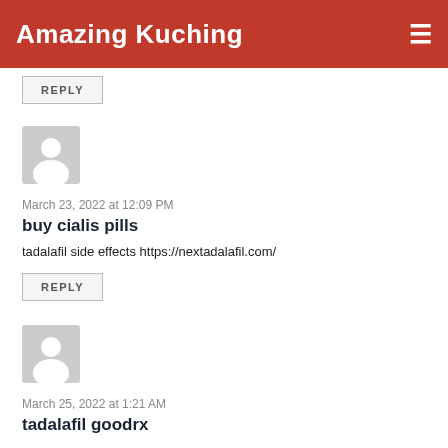Amazing Kuching
REPLY
March 23, 2022 at 12:09 PM
buy cialis pills
tadalafil side effects https://nextadalafil.com/
REPLY
March 25, 2022 at 1:21 AM
tadalafil goodrx